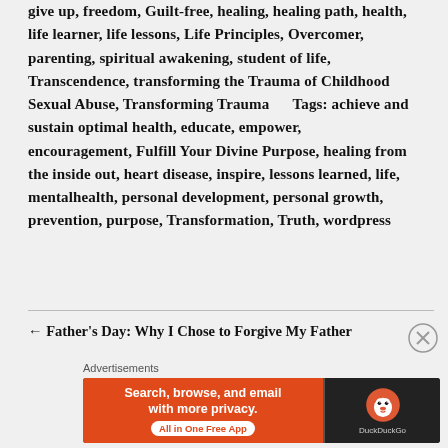give up, freedom, Guilt-free, healing, healing path, health, life learner, life lessons, Life Principles, Overcomer, parenting, spiritual awakening, student of life, Transcendence, transforming the Trauma of Childhood Sexual Abuse, Transforming Trauma    Tags: achieve and sustain optimal health, educate, empower, encouragement, Fulfill Your Divine Purpose, healing from the inside out, heart disease, inspire, lessons learned, life, mentalhealth, personal development, personal growth, prevention, purpose, Transformation, Truth, wordpress
← Father's Day: Why I Chose to Forgive My Father
Advertisements
[Figure (other): DuckDuckGo advertisement banner: orange left panel with text 'Search, browse, and email with more privacy. All in One Free App' and dark right panel with DuckDuckGo duck logo and brand name.]